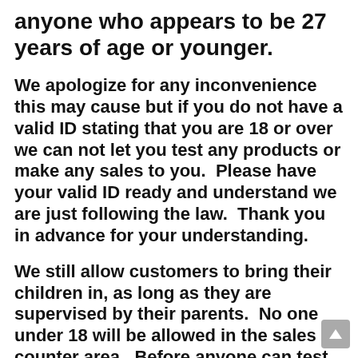anyone who appears to be 27 years of age or younger.
We apologize for any inconvenience this may cause but if you do not have a valid ID stating that you are 18 or over we can not let you test any products or make any sales to you.  Please have your valid ID ready and understand we are just following the law.  Thank you in advance for your understanding.
We still allow customers to bring their children in, as long as they are supervised by their parents.  No one under 18 will be allowed in the sales counter area.  Before anyone can test liquid or make a purchase, they must present I.D., if asked. We also do not allow parents to purchase for minors. We are just